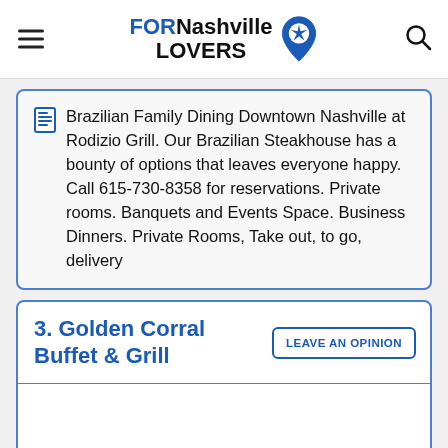FORNashville LOVERS
Brazilian Family Dining Downtown Nashville at Rodizio Grill. Our Brazilian Steakhouse has a bounty of options that leaves everyone happy. Call 615-730-8358 for reservations. Private rooms. Banquets and Events Space. Business Dinners. Private Rooms, Take out, to go, delivery
3. Golden Corral Buffet & Grill